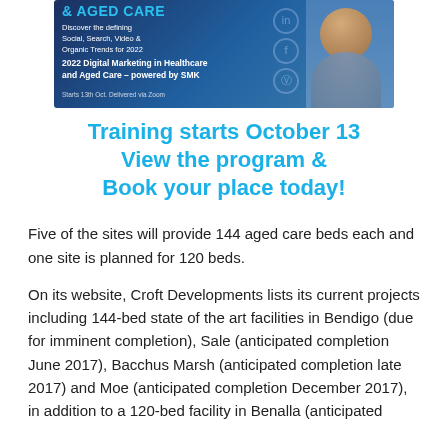[Figure (illustration): Banner advertisement for 2022 Digital Marketing in Healthcare and Aged Care training program by SMK. Shows social media icons, a photo of a man, and text about the program starting October 13.]
Training starts October 13
View the program &
Book your place today!
Five of the sites will provide 144 aged care beds each and one site is planned for 120 beds.
On its website, Croft Developments lists its current projects including 144-bed state of the art facilities in Bendigo (due for imminent completion), Sale (anticipated completion June 2017), Bacchus Marsh (anticipated completion late 2017) and Moe (anticipated completion December 2017), in addition to a 120-bed facility in Benalla (anticipated